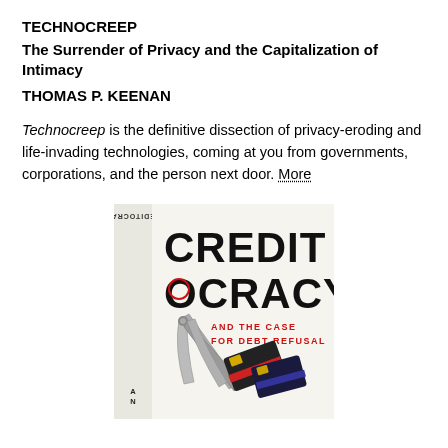TECHNOCREEP
The Surrender of Privacy and the Capitalization of Intimacy
THOMAS P. KEENAN
Technocreep is the definitive dissection of privacy-eroding and life-invading technologies, coming at you from governments, corporations, and the person next door. More
[Figure (photo): Book cover of 'Creditocracy and the Case for Debt Refusal' showing scissors cutting credit cards, with the title text in large block letters]